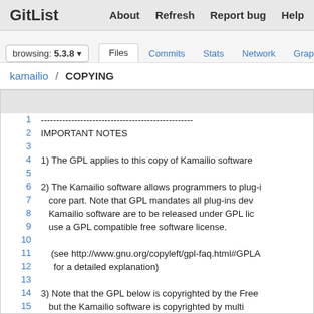GitList   About   Refresh   Report bug   Help
browsing: 5.3.8   Files   Commits   Stats   Network   Graph
kamailio / COPYING
1  -------------------------------
2  IMPORTANT NOTES
3
4  1) The GPL applies to this copy of Kamailio software
5
6  2) The Kamailio software allows programmers to plug-i
7     core part. Note that GPL mandates all plug-ins dev
8     Kamailio software are to be released under GPL lic
9     use a GPL compatible free software license.
10
11    (see http://www.gnu.org/copyleft/gpl-faq.html#GPLA
12     for a detailed explanation)
13
14 3) Note that the GPL below is copyrighted by the Free
15    but the Kamailio software is copyrighted by multi